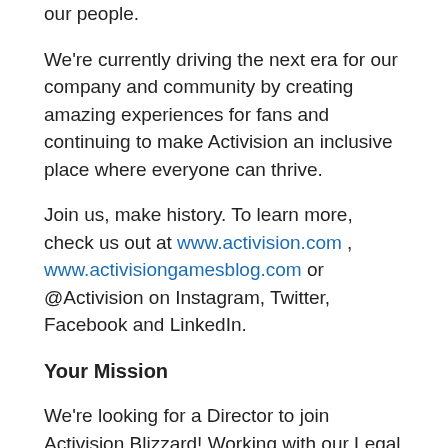our people.
We’re currently driving the next era for our company and community by creating amazing experiences for fans and continuing to make Activision an inclusive place where everyone can thrive.
Join us, make history. To learn more, check us out at www.activision.com , www.activisiongamesblog.com or @Activision on Instagram, Twitter, Facebook and LinkedIn.
Your Mission
We’re looking for a Director to join Activision Blizzard! Working with our Legal team and reporting to the Vice President, Legal, you’ll provide strategic advice and legal counsel regarding labor relations, collective bargaining, benefits and related issues. Activision is looking for an experienced and motivated lawyer to join our in-house legal team and contribute to business success, providing